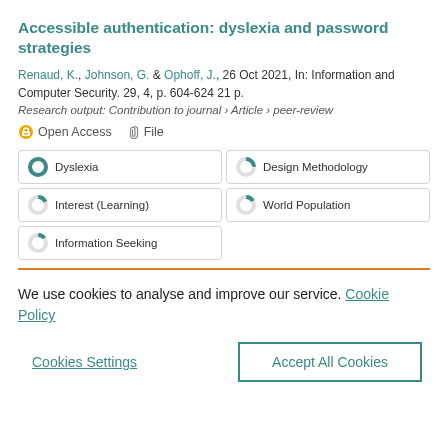Accessible authentication: dyslexia and password strategies
Renaud, K., Johnson, G. & Ophoff, J., 26 Oct 2021, In: Information and Computer Security. 29, 4, p. 604-624 21 p.
Research output: Contribution to journal › Article › peer-review
Open Access   File
Dyslexia
Design Methodology
Interest (Learning)
World Population
Information Seeking
We use cookies to analyse and improve our service. Cookie Policy
Cookies Settings
Accept All Cookies